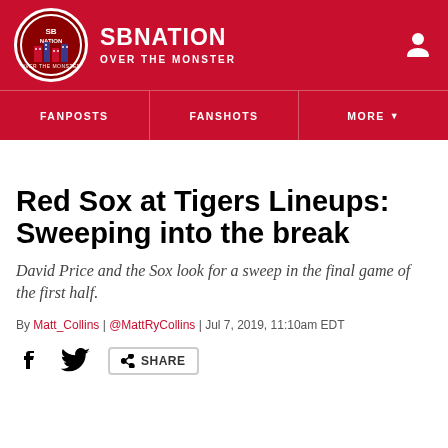SB NATION | OVER THE MONSTER
FANPOSTS | FANSHOTS | MORE
Red Sox at Tigers Lineups: Sweeping into the break
David Price and the Sox look for a sweep in the final game of the first half.
By Matt_Collins | @MattRyCollins | Jul 7, 2019, 11:10am EDT